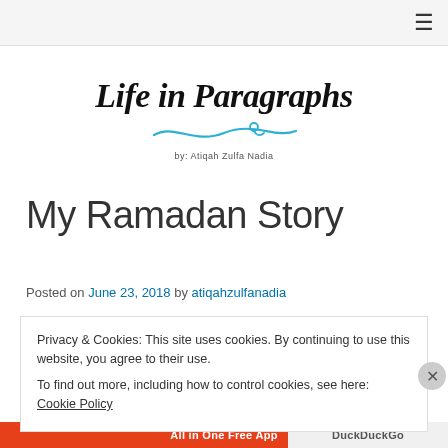≡
[Figure (logo): Blog logo: 'Life in Paragraphs' in cursive script with a blue decorative swirl underline and byline 'by: Atiqah Zulfa Nadia']
My Ramadan Story
Posted on June 23, 2018 by atiqahzulfanadia
Privacy & Cookies: This site uses cookies. By continuing to use this website, you agree to their use. To find out more, including how to control cookies, see here: Cookie Policy
Close and accept